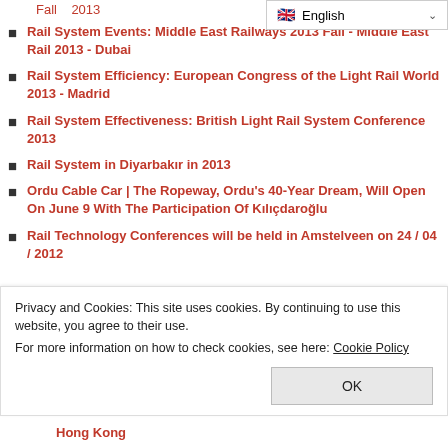Rail System Events: Middle East Railways 2013 Fall - Middle East Rail 2013 - Dubai
Rail System Efficiency: European Congress of the Light Rail World 2013 - Madrid
Rail System Effectiveness: British Light Rail System Conference 2013
Rail System in Diyarbakır in 2013
Ordu Cable Car | The Ropeway, Ordu's 40-Year Dream, Will Open On June 9 With The Participation Of Kılıçdaroğlu
Rail Technology Conferences will be held in Amstelveen on 24 / 04 / 2012
Privacy and Cookies: This site uses cookies. By continuing to use this website, you agree to their use.
For more information on how to check cookies, see here: Cookie Policy
Hong Kong